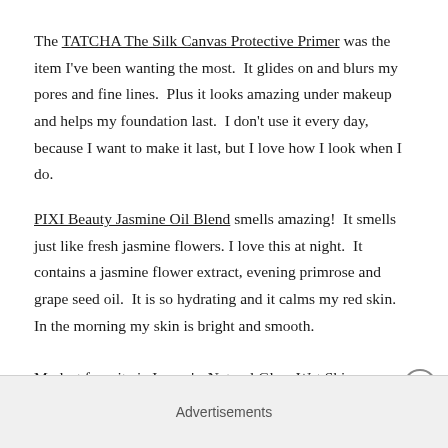The TATCHA The Silk Canvas Protective Primer was the item I've been wanting the most.  It glides on and blurs my pores and fine lines.  Plus it looks amazing under makeup and helps my foundation last.  I don't use it every day, because I want to make it last, but I love how I look when I do.
PIXI Beauty Jasmine Oil Blend smells amazing!  It smells just like fresh jasmine flowers. I love this at night.  It contains a jasmine flower extract, evening primrose and grape seed oil.  It is so hydrating and it calms my red skin.  In the morning my skin is bright and smooth.
My last favorite is Jergen's  Natural Glow Wet Skin
Advertisements